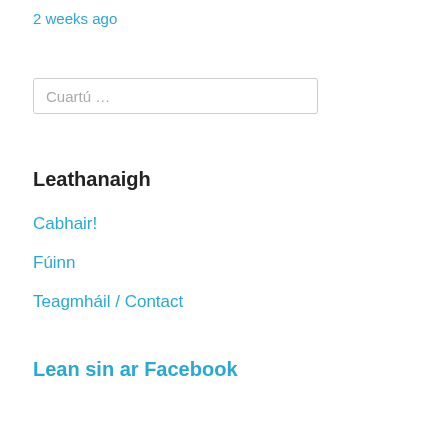2 weeks ago
Cuartú …
Leathanaigh
Cabhair!
Fúinn
Teagmháil / Contact
Lean sin ar Facebook